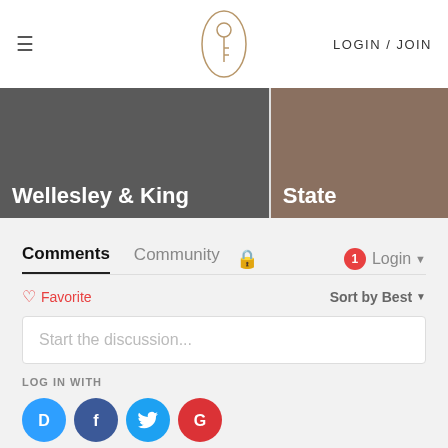≡  [Logo]  LOGIN / JOIN
[Figure (screenshot): Two banner images side by side: 'Wellesley & King' on dark grey background and 'State' on brownish background]
Comments   Community   🔒   1  Login ▾
♡ Favorite   Sort by Best ▾
Start the discussion...
LOG IN WITH
[Figure (logo): Social login icons: Disqus (D), Facebook (f), Twitter bird, Google (G)]
OR SIGN UP WITH DISQUS ?
Name